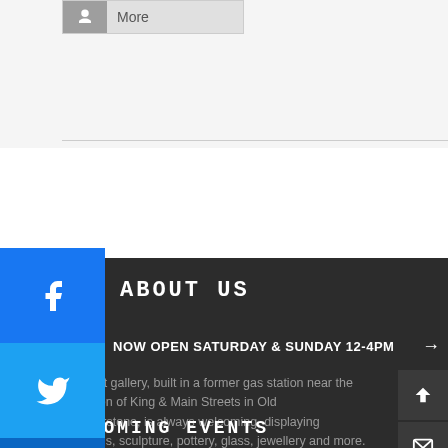[Figure (screenshot): Button with icon and 'More' label text at top of page]
ABOUT US
NOW OPEN SATURDAY & SUNDAY 12-4PM →
A well-lit gallery, built in a former gas station near the intersection of King & Main Streets in Old Humberstone, is always welcoming, displaying paintings, sculpture, pottery, glass, jewellery and more.
UPCOMING EVENTS